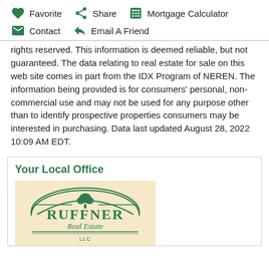Favorite  Share  Mortgage Calculator  Contact  Email A Friend
rights reserved. This information is deemed reliable, but not guaranteed. The data relating to real estate for sale on this web site comes in part from the IDX Program of NEREN. The information being provided is for consumers' personal, non-commercial use and may not be used for any purpose other than to identify prospective properties consumers may be interested in purchasing. Data last updated August 28, 2022 10:09 AM EDT.
Your Local Office
[Figure (logo): Ruffner Real Estate LLC logo — green emblem with tree and text on tan/cream background]